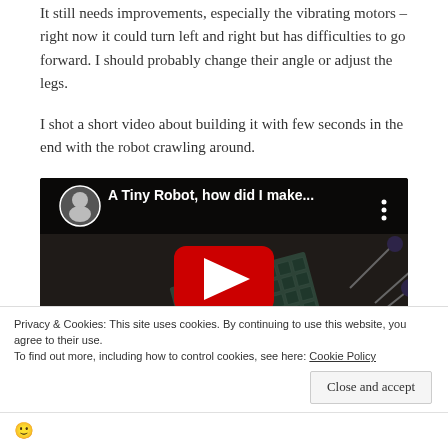It still needs improvements, especially the vibrating motors – right now it could turn left and right but has difficulties to go forward. I should probably change their angle or adjust the legs.
I shot a short video about building it with few seconds in the end with the robot crawling around.
[Figure (screenshot): YouTube video thumbnail showing a tiny robot made from PCB material with pins/legs, with a red play button overlay. Video title: 'A Tiny Robot, how did I make...' with a circular avatar of the creator.]
Privacy & Cookies: This site uses cookies. By continuing to use this website, you agree to their use.
To find out more, including how to control cookies, see here: Cookie Policy
Close and accept
🙂